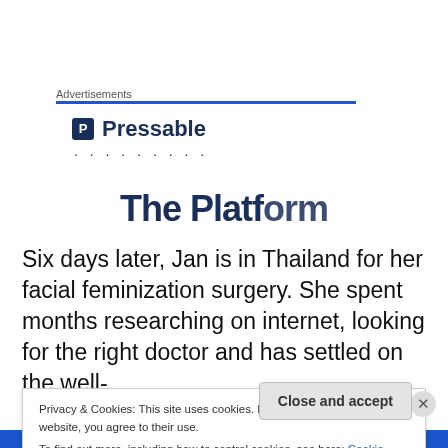Advertisements
[Figure (logo): Pressable logo with blue P icon and dotted tagline]
The Platform
Six days later, Jan is in Thailand for her facial feminization surgery. She spent months researching on internet, looking for the right doctor and has settled on the well-
Privacy & Cookies: This site uses cookies. By continuing to use this website, you agree to their use.
To find out more, including how to control cookies, see here: Cookie Policy
Close and accept